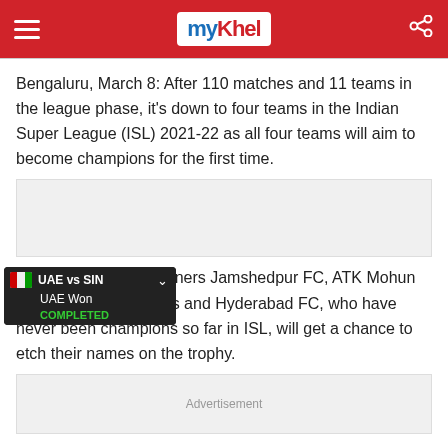myKhel
Bengaluru, March 8: After 110 matches and 11 teams in the league phase, it's down to four teams in the Indian Super League (ISL) 2021-22 as all four teams will aim to become champions for the first time.
[Figure (other): Advertisement placeholder box]
ISL League Shield winners Jamshedpur FC, ATK Mohun Bagan, Kerala Blasters and Hyderabad FC, who have never been champions so far in ISL, will get a chance to etch their names on the trophy.
[Figure (other): Advertisement placeholder box with label 'Advertisement']